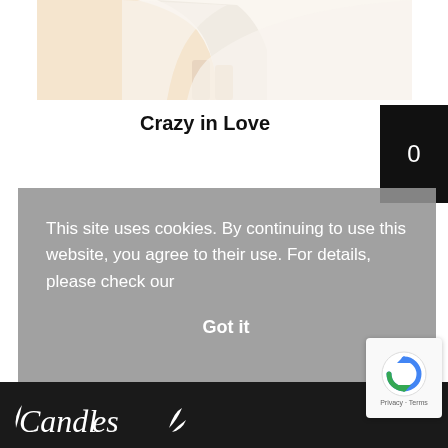[Figure (photo): Bottom portion of a white/cream wedding dress on a beige/peach background]
Crazy in Love
[Figure (other): Black badge/button showing the number 0]
This site uses cookies. By continuing to use this website, you agree to their use. For details, please check our
Got it
[Figure (logo): Candles script logo in white on dark footer bar]
[Figure (other): Google reCAPTCHA badge with Privacy and Terms text]